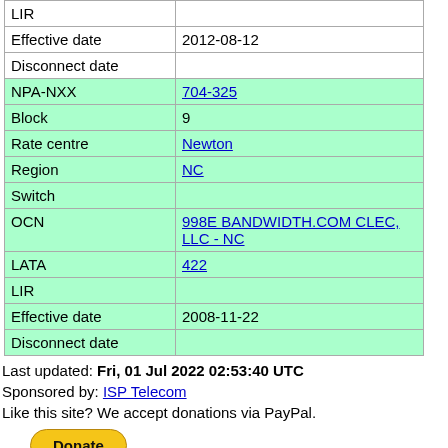| Field | Value |
| --- | --- |
| LIR |  |
| Effective date | 2012-08-12 |
| Disconnect date |  |
| NPA-NXX | 704-325 |
| Block | 9 |
| Rate centre | Newton |
| Region | NC |
| Switch |  |
| OCN | 998E BANDWIDTH.COM CLEC, LLC - NC |
| LATA | 422 |
| LIR |  |
| Effective date | 2008-11-22 |
| Disconnect date |  |
Last updated: Fri, 01 Jul 2022 02:53:40 UTC
Sponsored by: ISP Telecom
Like this site? We accept donations via PayPal.
[Figure (other): PayPal Donate button]